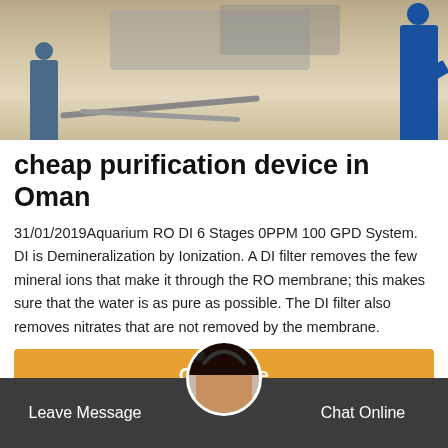[Figure (photo): Workers in blue overalls working outdoors near industrial equipment and hoses on a light-colored floor]
cheap purification device in Oman
31/01/2019Aquarium RO DI 6 Stages 0PPM 100 GPD System. DI is Demineralization by Ionization. A DI filter removes the few mineral ions that make it through the RO membrane; this makes sure that the water is as pure as possible. The DI filter also removes nitrates that are not removed by the membrane.
Get Price
Leave Message  Chat Online